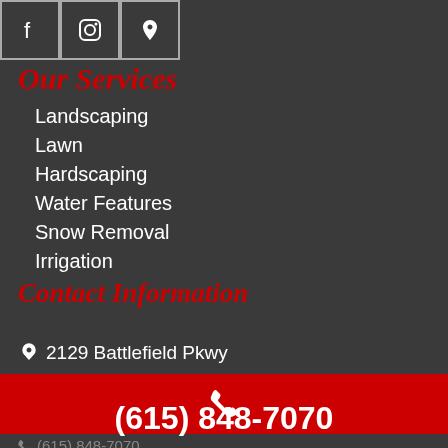[Figure (other): Three social media icons (Facebook, Instagram, Location/Maps) in bordered boxes]
Our Services
Landscaping
Lawn
Hardscaping
Water Features
Snow Removal
Irrigation
Contact Information
2129 Battlefield Pkwy
[Figure (other): Red bar with white phone icon]
(615) 848-7070
(615) 848-7070